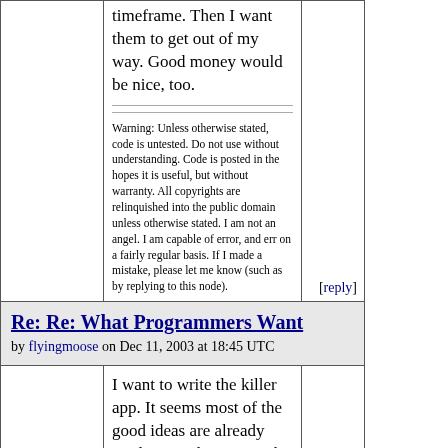timeframe. Then I want them to get out of my way. Good money would be nice, too.
Warning: Unless otherwise stated, code is untested. Do not use without understanding. Code is posted in the hopes it is useful, but without warranty. All copyrights are relinquished into the public domain unless otherwise stated. I am not an angel. I am capable of error, and err on a fairly regular basis. If I made a mistake, please let me know (such as by replying to this node).
[reply]
Re: Re: What Programmers Want
by flyingmoose on Dec 11, 2003 at 18:45 UTC
I want to write the killer app. It seems most of the good ideas are already implemented, I want to be famous and important,